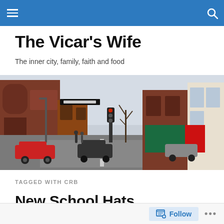Navigation bar with menu and search icons
The Vicar's Wife
The inner city, family, faith and food
[Figure (photo): Street scene showing an urban high street with red brick buildings, shops, traffic lights, parked cars and bare trees in winter.]
TAGGED WITH CRB
New School Hats
Follow  ...